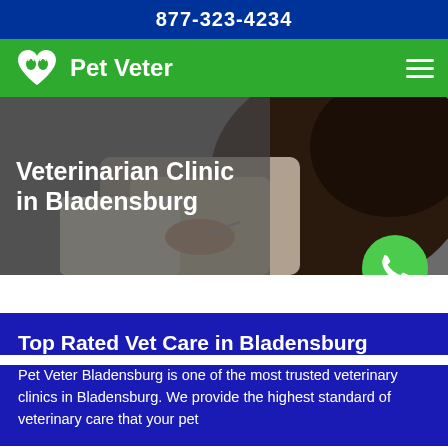877-323-4234
Pet Veter
[Figure (photo): Veterinarian in white coat administering injection to a dark-colored dog, close-up shot]
Veterinarian Clinic in Bladensburg
Top Rated Vet Care in Bladensburg
Pet Veter Bladensburg is one of the most trusted veterinary clinics in Bladensburg. We provide the highest standard of veterinary care that your pet